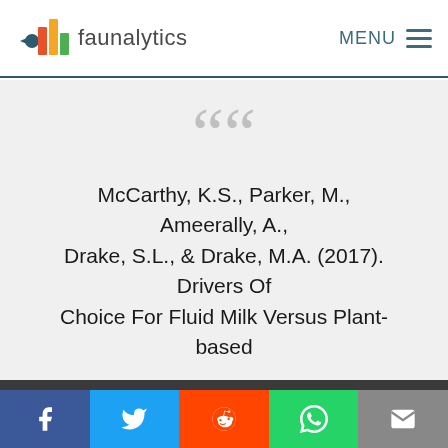faunalytics  MENU
McCarthy, K.S., Parker, M., Ameerally, A., Drake, S.L., & Drake, M.A. (2017). Drivers Of Choice For Fluid Milk Versus Plant-based
Faunalytics uses cookies to provide necessary site functionality and to help us understand how you use our website. By continuing to use this site, you agree to
I AGREE